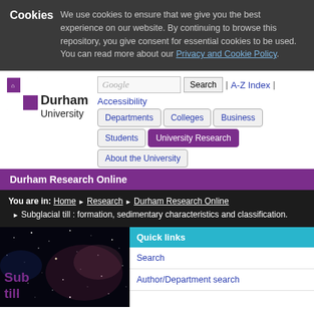Cookies — We use cookies to ensure that we give you the best experience on our website. By continuing to browse this repository, you give consent for essential cookies to be used. You can read more about our Privacy and Cookie Policy.
[Figure (logo): Durham University shield logo with text 'Durham University']
Google Search | A-Z Index | Accessibility
Departments | Colleges | Business | Students | University Research | About the University
Durham Research Online
You are in: Home ▶ Research ▶ Durham Research Online ▶ Subglacial till : formation, sedimentary characteristics and classification.
[Figure (photo): Space nebula photograph with stars on dark background]
Sub till
Quick links
Search
Author/Department search